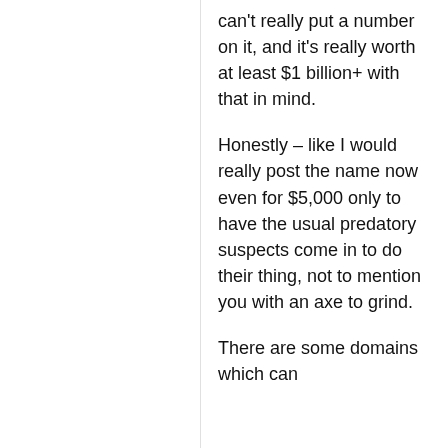can't really put a number on it, and it's really worth at least $1 billion+ with that in mind.
Honestly – like I would really post the name now even for $5,000 only to have the usual predatory suspects come in to do their thing, not to mention you with an axe to grind.
There are some domains which can